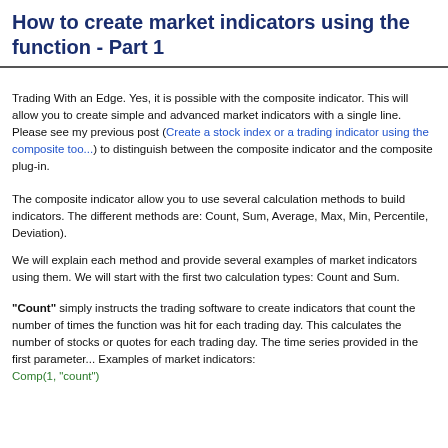How to create market indicators using the function - Part 1
Trading With an Edge. Yes, it is possible with the composite indicator. This will allow you to create simple and advanced market indicators with a single line. Please see my previous post (Create a stock index or a trading indicator using the composite too...) to distinguish between the composite indicator and the composite plug-in.
The composite indicator allow you to use several calculation methods to build indicators. The different methods are: Count, Sum, Average, Max, Min, Percentile, Deviation). We will explain each method and provide several examples of market indicators using them. We will start with the first two calculation types: Count and Sum.
"Count" simply instructs the trading software to create indicators that count the number of times the function was hit for each trading day. This calculates the number of stocks or quotes for each trading day. The time series provided in the first parameter... Examples of market indicators:
Comp(1, "count")